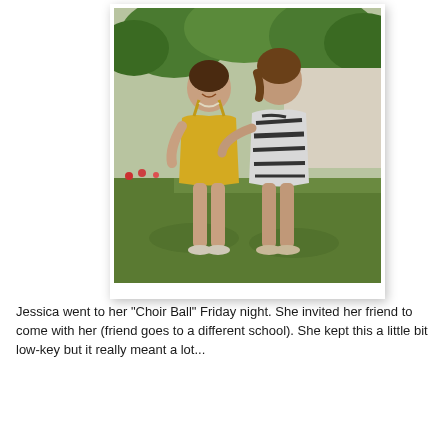[Figure (photo): Two young women standing together outdoors on grass with trees in background. The woman on the left wears a yellow sundress with a necklace. The woman on the right wears a black and white zebra-print dress. They are posing together smiling.]
Jessica went to her "Choir Ball" Friday night. She invited her friend to come with her (friend goes to a different school). She kept this a little bit low-key but it really meant a lot...